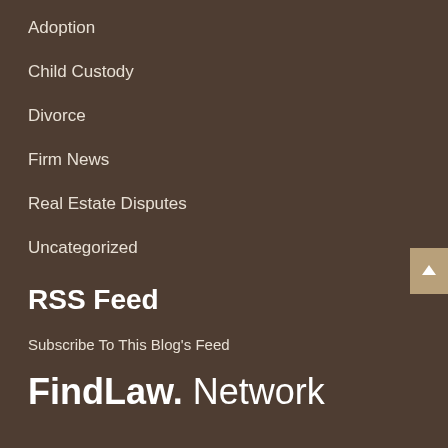Adoption
Child Custody
Divorce
Firm News
Real Estate Disputes
Uncategorized
RSS Feed
Subscribe To This Blog's Feed
[Figure (logo): FindLaw Network logo in white text on dark brown background]